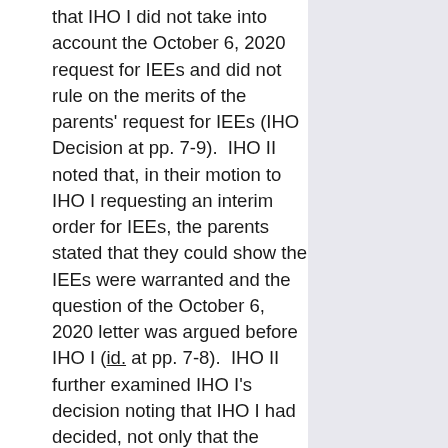that IHO I did not take into account the October 6, 2020 request for IEEs and did not rule on the merits of the parents' request for IEEs (IHO Decision at pp. 7-9).  IHO II noted that, in their motion to IHO I requesting an interim order for IEEs, the parents stated that they could show the IEEs were warranted and the question of the October 6, 2020 letter was argued before IHO I (id. at pp. 7-8).  IHO II further examined IHO I's decision noting that IHO I had decided, not only that the parents did not have a right to IEEs but that, in addition, the evaluations were "unwarranted" and the parents' requested relief was "denied in all respects" (id. at pp. 9, 12).  Thus, IHO II found support in IHO I's decision for the conclusion that IHO I addressed the issue of IEEs on the merits and made a final